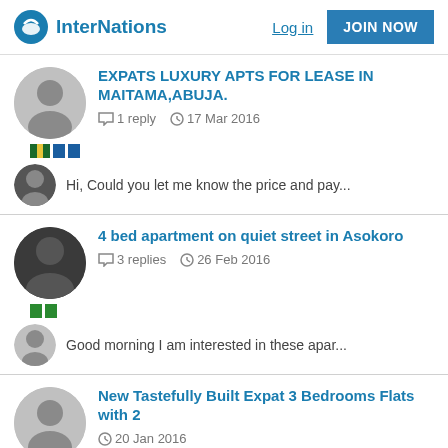InterNations | Log in | JOIN NOW
EXPATS LUXURY APTS FOR LEASE IN MAITAMA,ABUJA.
1 reply   17 Mar 2016
Hi, Could you let me know the price and pay...
4 bed apartment on quiet street in Asokoro
3 replies   26 Feb 2016
Good morning I am interested in these apar...
New Tastefully Built Expat 3 Bedrooms Flats with 2
20 Jan 2016
New Tastefully Built Expat 3 Bedrooms Flats with